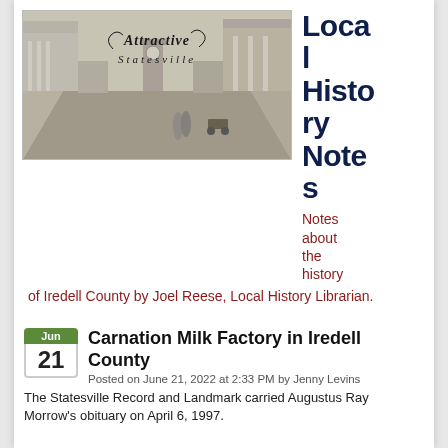[Figure (photo): Black and white historic photo of a street scene in Statesville with the text 'Attractive Statesville' overlaid in decorative lettering]
Local History Notes
Notes about the history of Iredell County by Joel Reese, Local History Librarian.
Carnation Milk Factory in Iredell County
Posted on June 21, 2022 at 2:33 PM by Jenny Levins
The Statesville Record and Landmark carried Augustus Ray Morrow's obituary on April 6, 1997.